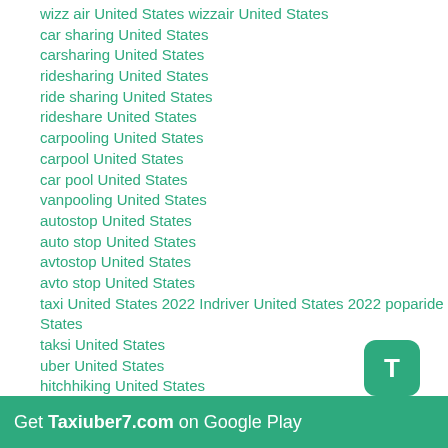wizz air United States wizzair United States
car sharing United States
carsharing United States
ridesharing United States
ride sharing United States
rideshare United States
carpooling United States
carpool United States
car pool United States
vanpooling United States
autostop United States
auto stop United States
avtostop United States
avto stop United States
taxi United States 2022 Indriver United States 2022 poparide United States
taksi United States
uber United States
hitchhiking United States
mitfahrgelegenheit United States
бла бла такси United States , plaplacar United States
блаблатакси United States едем рф найти поездку как пассажир United States , едем попутчики в United States , едем попутчики United States бла бла car United States blabla кар
[Figure (other): Green rounded square icon with white letter T]
Get Taxiuber7.com on Google Play